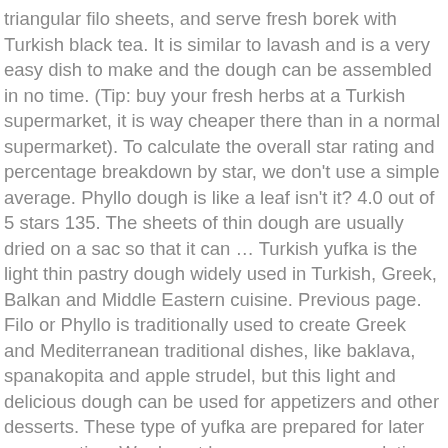triangular filo sheets, and serve fresh borek with Turkish black tea. It is similar to lavash and is a very easy dish to make and the dough can be assembled in no time. (Tip: buy your fresh herbs at a Turkish supermarket, it is way cheaper there than in a normal supermarket). To calculate the overall star rating and percentage breakdown by star, we don't use a simple average. Phyllo dough is like a leaf isn't it? 4.0 out of 5 stars 135. The sheets of thin dough are usually dried on a sac so that it can … Turkish yufka is the light thin pastry dough widely used in Turkish, Greek, Balkan and Middle Eastern cuisine. Previous page. Filo or Phyllo is traditionally used to create Greek and Mediterranean traditional dishes, like baklava, spanakopita and apple strudel, but this light and delicious dough can be used for appetizers and other desserts. These type of yufka are prepared for later consumption. We do not have any recommendations at this time. Actual product packaging and materials may contain more and/or different information than that shown on our Web site. Has a long shelf life, so buy a few pieces and keep in the fridge. For additional